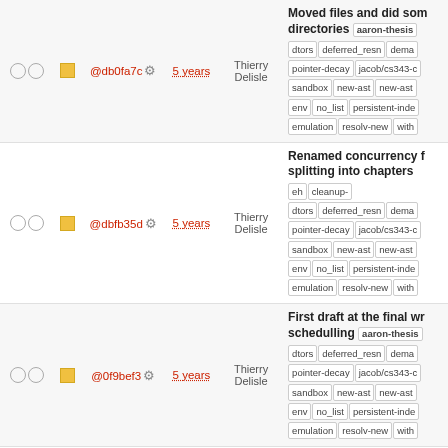| checks | status | hash | age | author | message |
| --- | --- | --- | --- | --- | --- |
| ○ ○ | ■ | @db0fa7c ⚙ | 5 years | Thierry Delisle | Moved files and did some directories aaron-thesis dtors deferred_resn dema pointer-decay jacob/cs343-c sandbox new-ast new-ast env no_list persistent-inde emulation resolv-new with |
| ○ ○ | ■ | @dbfb35d ⚙ | 5 years | Thierry Delisle | Renamed concurrency f splitting into chapters eh cleanup- dtors deferred_resn dema pointer-decay jacob/cs343-c sandbox new-ast new-ast env no_list persistent-inde emulation resolv-new with |
| ○ ○ | ■ | @0f9bef3 ⚙ | 5 years | Thierry Delisle | First draft at the final wr schedulling aaron-thesis dtors deferred_resn dema pointer-decay jacob/cs343-c sandbox new-ast new-ast env no_list persistent-inde emulation resolv-new with |
| ○ ○ | ■ | @154fdc8 ⚙ | 5 years | Thierry Delisle | Merge branch 'master' c plg.uwaterloo.ca:softwa aaron-thesis arm-eh cle dtors deferred_resn dema pointer-decay jacob/cs343-c sandbox new-ast new-ast env no_list persistent-inde emulation resolv-new with |
| ○ ○ | ■ | @b0fedd4 ⚙ | 5 years | Thierry Delisle | Some changes to concu aaron-thesis arm-eh cle dtors deferred_resn dema pointer-decay jacob/cs343- |